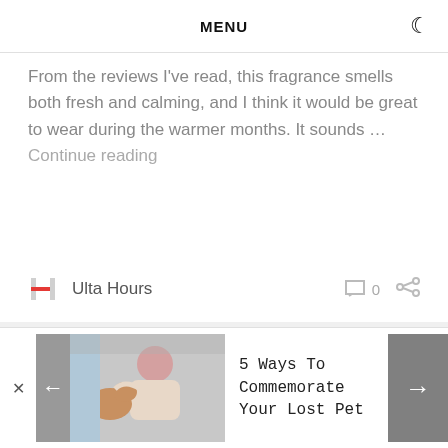MENU
From the reviews I've read, this fragrance smells both fresh and calming, and I think it would be great to wear during the warmer months. It sounds … Continue reading
Ulta Hours  0
We have special offers throughout the year
[Figure (photo): Advertisement banner showing a person hugging a pet with text '5 Ways To Commemorate Your Lost Pet']
5 Ways To Commemorate Your Lost Pet